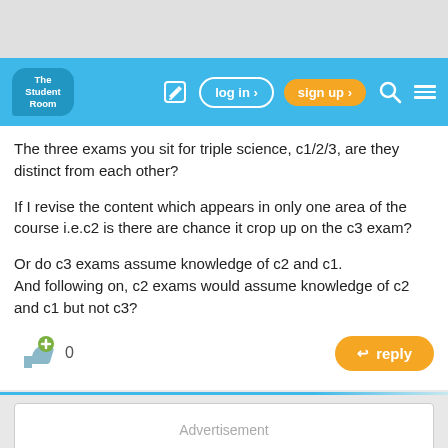[Figure (screenshot): The Student Room website header with logo, log in, sign up, search, and menu buttons on a blue navbar]
The three exams you sit for triple science, c1/2/3, are they distinct from each other?
If I revise the content which appears in only one area of the course i.e.c2 is there are chance it crop up on the c3 exam?
Or do c3 exams assume knowledge of c2 and c1.
And following on, c2 exams would assume knowledge of c2 and c1 but not c3?
0
reply
Advertisement